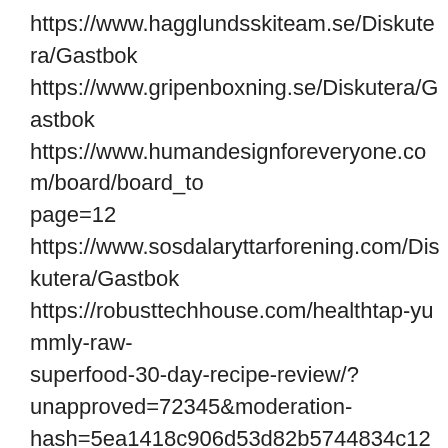https://www.hagglundsskiteam.se/Diskutera/Gastbok
https://www.gripenboxning.se/Diskutera/Gastbok
https://www.humandesignforeveryone.com/board/board_topic=12
https://www.sosdalaryttarforening.com/Diskutera/Gastbok
https://robusttechhouse.com/healthtap-yummly-raw-superfood-30-day-recipe-review/?unapproved=72345&moderation-hash=5ea1418c906d53d82b5744834c126675#comment-72345
https://www.badminton.nu/tankarfranstolen/gastbok
https://www.solocalculadoras.com/blog/17_Video-Packaging-Calculadora-Gr%C3%A1fica-HP-Prime.html
https://www.odettedance.com/blog/19/Consejos-para-Practicar-tu-Disciplina-Favorit.html
https://www.tsk.se/gastbok
https://www.scootergoods.com/scootergoods-